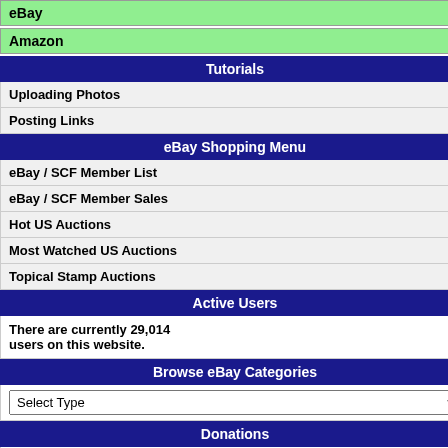eBay
Amazon
Tutorials
Uploading Photos
Posting Links
eBay Shopping Menu
eBay / SCF Member List
eBay / SCF Member Sales
Hot US Auctions
Most Watched US Auctions
Topical Stamp Auctions
Active Users
There are currently 29,014 users on this website.
Browse eBay Categories
Donations
Donate
All Forums  Category: General Philatelic  Forum: Philatelic Book, Reference, Supply
Society Of Philatelic Ame...
To participate in
| Author | Re... |
| --- | --- |
| kirks
Moderator
BIG SUPPORTER
[stamp image]
United States | Posted 02/05/20...
Great nametag, P...
Love the block le... feel to it.
Thanks for sharin...
Kirk |